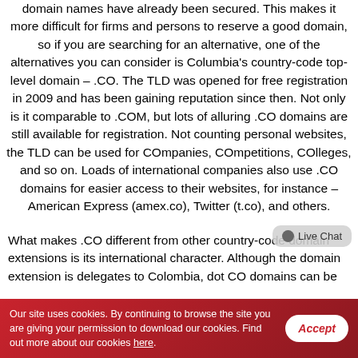domain names have already been secured. This makes it more difficult for firms and persons to reserve a good domain, so if you are searching for an alternative, one of the alternatives you can consider is Columbia's country-code top-level domain – .CO. The TLD was opened for free registration in 2009 and has been gaining reputation since then. Not only is it comparable to .COM, but lots of alluring .CO domains are still available for registration. Not counting personal websites, the TLD can be used for COmpanies, COmpetitions, COlleges, and so on. Loads of international companies also use .CO domains for easier access to their websites, for instance – American Express (amex.co), Twitter (t.co), and others.
What makes .CO different from other country-code domain extensions is its international character. Although the domain extension is delegates to Colombia, dot CO domains can be
Our site uses cookies. By continuing to browse the site you are giving your permission to download our cookies. Find out more about our cookies here.